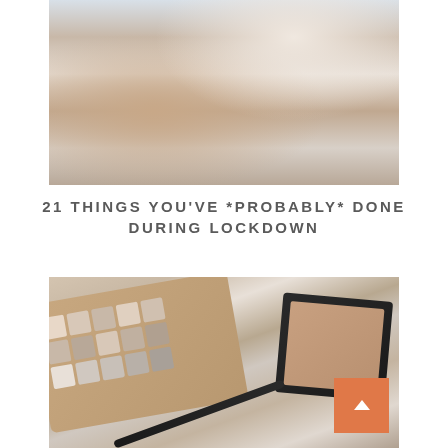[Figure (photo): Woman lying on white sofa/couch taking a selfie with her phone, wearing white/cream clothing and socks, light airy room setting]
21 THINGS YOU'VE *PROBABLY* DONE DURING LOCKDOWN
[Figure (photo): Flat lay of makeup products including a large eyeshadow palette with neutral shades, a black eyeliner pencil, a NARS compact, a small white bottle, and other beauty products on a white surface. A scroll-to-top orange button appears in the bottom right.]